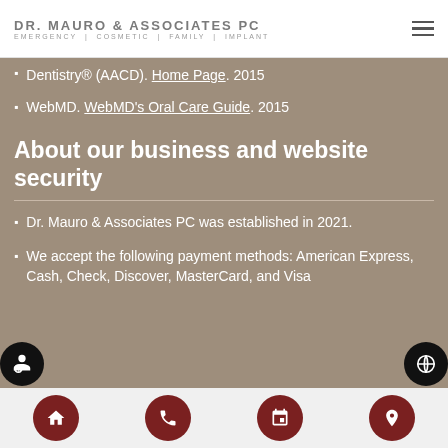DR. MAURO & ASSOCIATES PC | EMERGENCY | COSMETIC | FAMILY | IMPLANT
Dentistry® (AACD). Home Page. 2015
WebMD. WebMD's Oral Care Guide. 2015
About our business and website security
Dr. Mauro & Associates PC was established in 2021.
We accept the following payment methods: American Express, Cash, Check, Discover, MasterCard, and Visa
Home | Phone | Calendar | Location